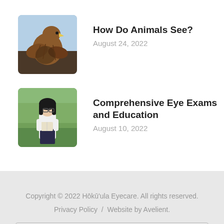[Figure (photo): Photo of a golden eagle perched, brown feathers, blue sky background]
How Do Animals See?
August 24, 2022
[Figure (photo): Photo of a young girl with glasses holding a book outdoors in a field]
Comprehensive Eye Exams and Education
August 10, 2022
Copyright © 2022 Hōkū'ula Eyecare. All rights reserved.
Privacy Policy  /  Website by Avelient.
Back to Top